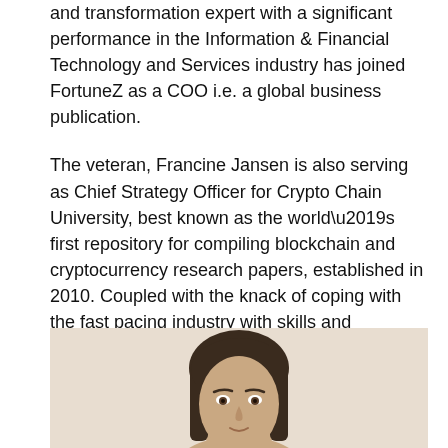and transformation expert with a significant performance in the Information & Financial Technology and Services industry has joined FortuneZ as a COO i.e. a global business publication.
The veteran, Francine Jansen is also serving as Chief Strategy Officer for Crypto Chain University, best known as the world’s first repository for compiling blockchain and cryptocurrency research papers, established in 2010. Coupled with the knack of coping with the fast pacing industry with skills and expertise, Francine accepts the challenges associated with her current role and says” You snooze, you lose’ is very apt in what I do, but I learn from experience.”
[Figure (photo): Portrait photo of a woman with long dark hair against a light beige background, cropped to show head and shoulders]